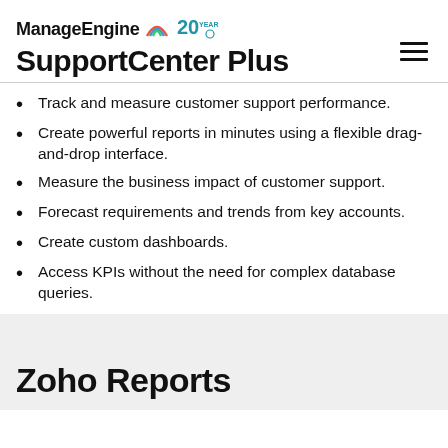ManageEngine SupportCenter Plus
Track and measure customer support performance.
Create powerful reports in minutes using a flexible drag-and-drop interface.
Measure the business impact of customer support.
Forecast requirements and trends from key accounts.
Create custom dashboards.
Access KPIs without the need for complex database queries.
Zoho Reports